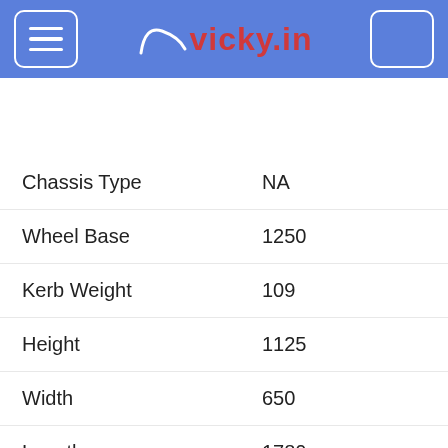vicky.in
| Specification | Value |
| --- | --- |
| Chassis Type | NA |
| Wheel Base | 1250 |
| Kerb Weight | 109 |
| Height | 1125 |
| Width | 650 |
| Length | 1780 |
| Ground Clearence | 160 |
| Turning Circle Radius | NA |
| Suspension Front | Telescopic |